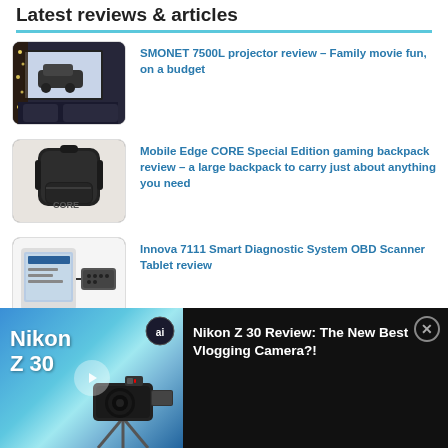Latest reviews & articles
SMONET 7500L projector review – Family movie fun, on a budget
Mobile Edge CORE Special Edition gaming backpack review – a large backpack to carry just about anything you need
Innova 7111 Smart Diagnostic System OBD Scanner Tablet review
[Figure (screenshot): Video ad overlay for Nikon Z 30 Review: The New Best Vlogging Camera?! showing a camera on tripod against gradient blue background with ad text on dark panel]
Nikon Z 30 Review: The New Best Vlogging Camera?!